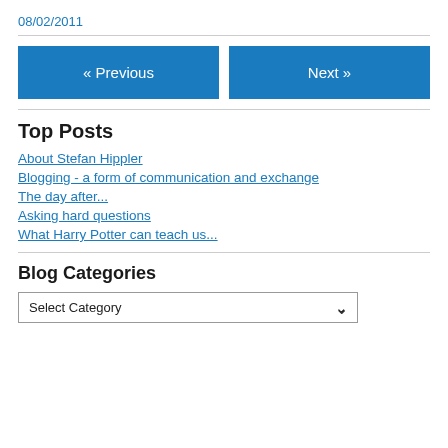08/02/2011
« Previous
Next »
Top Posts
About Stefan Hippler
Blogging - a form of communication and exchange
The day after...
Asking hard questions
What Harry Potter can teach us...
Blog Categories
Select Category